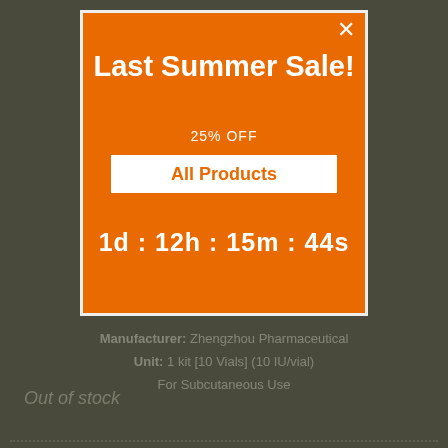[Figure (screenshot): Orange promotional popup modal overlay on a dark gray-green background. The modal has a white border and contains: large white text 'Last Summer Sale!', subtitle '25% OFF', a white button with orange text 'All Products', and a countdown timer '1d : 12h : 15m : 44s'.]
Manufacturer: Zhengzhou Pharmaceutical
Unit: 1 kit [10 Vials] (10 IU/vial)
For Subcutaneous Use
Out of stock